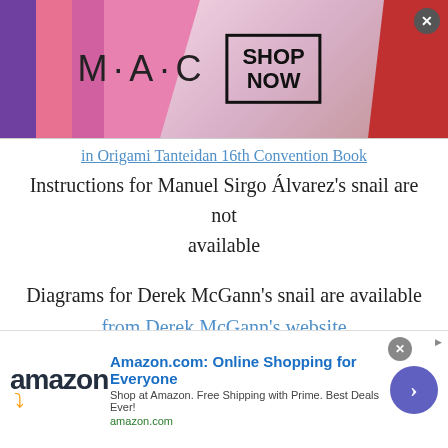[Figure (other): MAC cosmetics advertisement banner with lipsticks and SHOP NOW button]
in Origami Tanteidan 16th Convention Book
Instructions for Manuel Sirgo Álvarez's snail are not available
Diagrams for Derek McGann's snail are available from Derek McGann's website
Diagrams for Hideo Komatsu's snail are available in Origami Tanteidan 19th Convention Book
[Figure (other): Amazon.com online shopping advertisement banner]